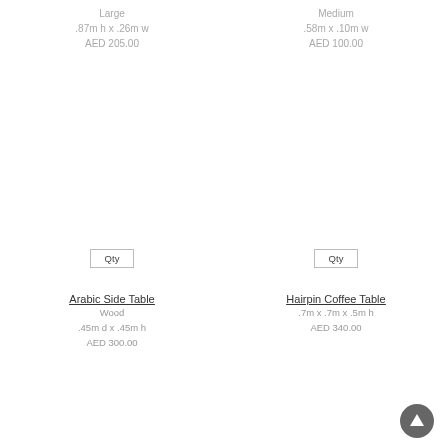Large
.87m h x .26m w
AED 205.00
Medium
.58m x .10m w
AED 100.00
[Figure (other): Qty input box for Arabic Side Table]
[Figure (other): Qty input box for Hairpin Coffee Table]
Arabic Side Table
Wood
.45m d x .45m h
AED 300.00
Hairpin Coffee Table
.7m x .7m x .5m h
AED 340.00
[Figure (other): Back to top arrow button circle]